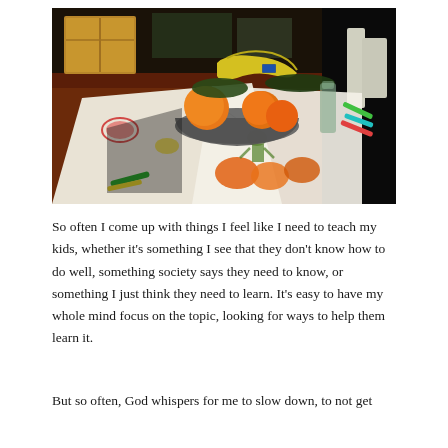[Figure (photo): A wooden table with a bowl of fruit (bananas, oranges, zucchini) in the center, children's drawings and colored markers scattered around, and a wooden crate visible in the background.]
So often I come up with things I feel like I need to teach my kids, whether it's something I see that they don't know how to do well, something society says they need to know, or something I just think they need to learn. It's easy to have my whole mind focus on the topic, looking for ways to help them learn it.
But so often, God whispers for me to slow down, to not get